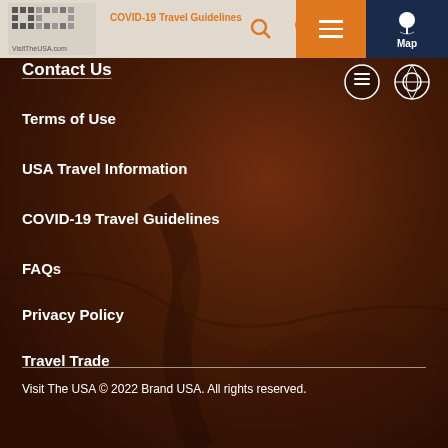[Figure (screenshot): VisitTheUSA.com navigation menu overlay on dark reddish canyon background photo. Orange hamburger menu button and dark navy map button in top-right corner. Search and heart icons in orange. Two circular icons visible on right side.]
COVID-19 Travel Guidelines | VisitTheUSA.com
Contact Us
Terms of Use
USA Travel Information
COVID-19 Travel Guidelines
FAQs
Privacy Policy
Travel Trade
Visit The USA © 2022 Brand USA. All rights reserved.